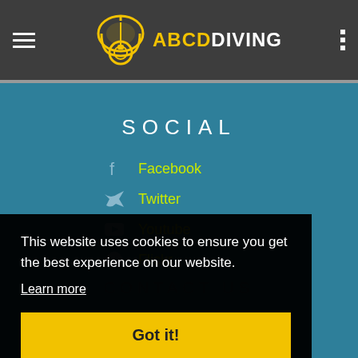ABCD DIVING
SOCIAL
Facebook
Twitter
Youtube
Flickr
CONTACT US
This website uses cookies to ensure you get the best experience on our website.
Learn more
Got it!